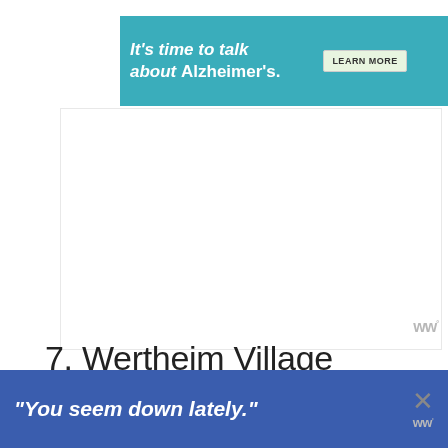[Figure (screenshot): Alzheimer's Association banner ad with teal background. Text reads: It's time to talk about Alzheimer's. LEARN MORE button. Alzheimer's association logo with close X.]
[Figure (screenshot): Blank white advertisement placeholder area with a W logo watermark in gray at the bottom right.]
7. Wertheim Village Shopping Package from Frankfurt
[Figure (screenshot): Blue pop-up advertisement banner at the bottom reading: "You seem down lately." with a close X button and W logo.]